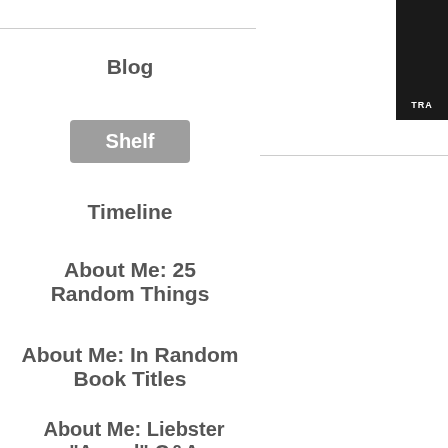Blog
Shelf
Timeline
About Me: 25 Random Things
About Me: In Random Book Titles
About Me: Liebster "Award" Q&A
About Me: More Random Things
[Figure (other): Star ratings — a row of 5 gold stars followed by partial stars on right side, and a partial row at bottom]
[Figure (other): Dark corner box with text TRA (truncated)]